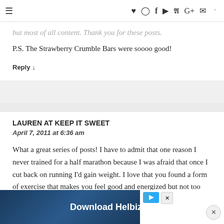≡ ♥ Instagram f Pinterest Twitter G+ mail RSS
but most of all content. Thank you for these posts.
P.S. The Strawberry Crumble Bars were soooo good!
Reply ↓
LAUREN AT KEEP IT SWEET
April 7, 2011 at 6:36 am
What a great series of posts! I have to admit that one reason I never trained for a half marathon because I was afraid that once I cut back on running I'd gain weight. I love that you found a form of exercise that makes you feel good and energized but not too exhausted to function... example...
[Figure (other): Advertisement banner: Download Helbiz and ride, with play button and close button icons]